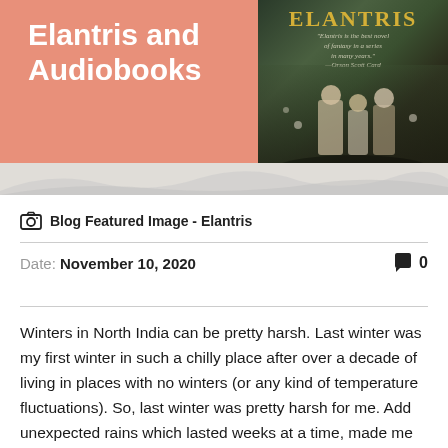[Figure (illustration): Blog featured banner image with salmon/coral background showing title 'Elantris and Audiobooks' in white bold text on the left, and a book cover for 'Elantris' on the right with dark fantasy artwork. Mountain silhouette along the bottom.]
Blog Featured Image - Elantris
Date: November 10, 2020   💬 0
Winters in North India can be pretty harsh. Last winter was my first winter in such a chilly place after over a decade of living in places with no winters (or any kind of temperature fluctuations). So, last winter was pretty harsh for me. Add unexpected rains which lasted weeks at a time, made me way too miserable.